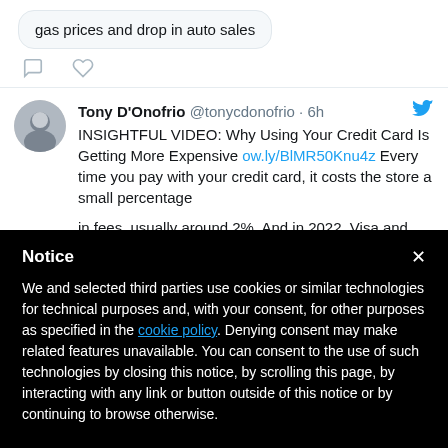gas prices and drop in auto sales
Tony D'Onofrio @tonycdonofrio · 6h
INSIGHTFUL VIDEO: Why Using Your Credit Card Is Getting More Expensive ow.ly/BlMR50Knu4z Every time you pay with your credit card, it costs the store a small percentage in fees, usually around 2%. And in 2022, Visa and
Notice
We and selected third parties use cookies or similar technologies for technical purposes and, with your consent, for other purposes as specified in the cookie policy. Denying consent may make related features unavailable. You can consent to the use of such technologies by closing this notice, by scrolling this page, by interacting with any link or button outside of this notice or by continuing to browse otherwise.